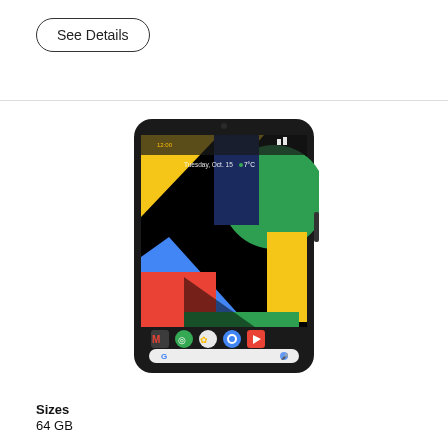See Details
[Figure (photo): Google Pixel 4 smartphone showing colorful geometric wallpaper with Google apps at the bottom]
Sizes
64 GB